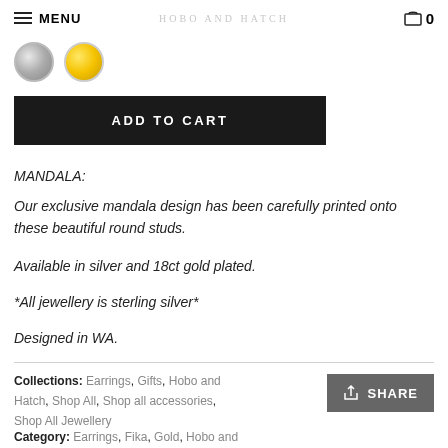MENU | HOBO AND HATCH | 0
[Figure (illustration): Two circular color swatches: one silver/grey and one yellow/gold, for selecting earring metal color]
ADD TO CART
MANDALA:
Our exclusive mandala design has been carefully printed onto these beautiful round studs.
Available in silver and 18ct gold plated.
*All jewellery is sterling silver*
Designed in WA.
Collections: Earrings, Gifts, Hobo and Hatch, Shop All, Shop all accessories, Shop All Jewellery
Category: Earrings, Fika, Gold, Hobo and Hatch,
SHARE